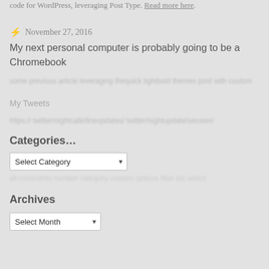code for WordPress, leveraging Post Type. Read more here.
⚡ November 27, 2016
My next personal computer is probably going to be a Chromebook
My Tweets
Categories…
Archives